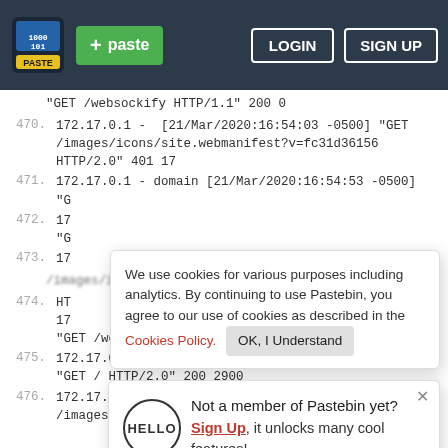Pastebin navigation bar with logo, paste button, login and sign up buttons
"GET /websockify HTTP/1.1" 200 0
470. 172.17.0.1 -  [21/Mar/2020:16:54:03 -0500] "GET /images/icons/site.webmanifest?v=fc31d36156 HTTP/2.0" 401 17
471. 172.17.0.1 - domain [21/Mar/2020:16:54:53 -0500] "G
472. 17 "G
473. 17
We use cookies for various purposes including analytics. By continuing to use Pastebin, you agree to our use of cookies as described in the Cookies Policy.  OK, I Understand
/images/icons/site.webmanifest?v=fc31d36156
Not a member of Pastebin yet? Sign Up, it unlocks many cool features!
474. 17 "GET /websockify HTTP/1.1" 200 0
475. 172.17.0.1 - domain [21/Mar/2020:17:11:11 -0500] "GET / HTTP/2.0" 200 2900
476. 172.17.0.1 -  [21/Mar/2020:17:11:12 -0500] "GET /images/icons/site.webmanifest?v=fc31d36156